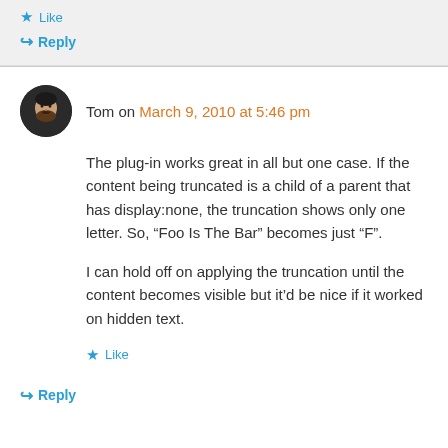Like
↪ Reply
Tom on March 9, 2010 at 5:46 pm
The plug-in works great in all but one case. If the content being truncated is a child of a parent that has display:none, the truncation shows only one letter. So, “Foo Is The Bar” becomes just “F”.
I can hold off on applying the truncation until the content becomes visible but it’d be nice if it worked on hidden text.
Like
↪ Reply